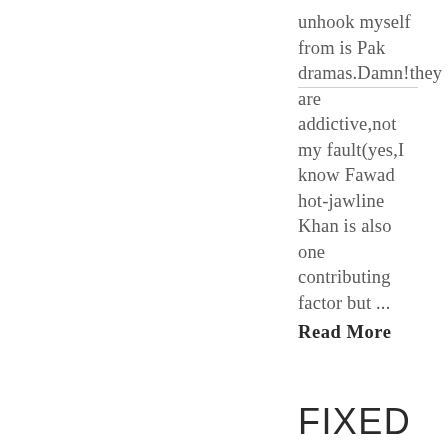unhook myself from is Pak dramas.Damn!they are addictive,not my fault(yes,I know Fawad hot-jawline Khan is also one contributing factor but ...
Read More
FIXED GAMES
3 minute read |